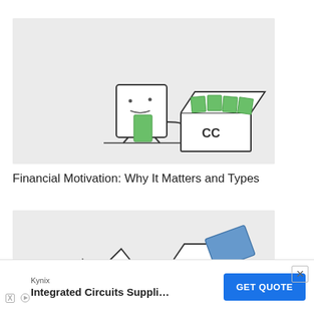[Figure (illustration): A cartoon illustration of a square character holding a green card, standing next to an open box labeled 'CC' containing green cards/bills, on a light gray background.]
Financial Motivation: Why It Matters and Types
[Figure (illustration): A partial cartoon illustration on a light gray background showing characters and an open box with a blue item, partially visible at the bottom of the page.]
Kynix
Integrated Circuits Suppli…
GET QUOTE